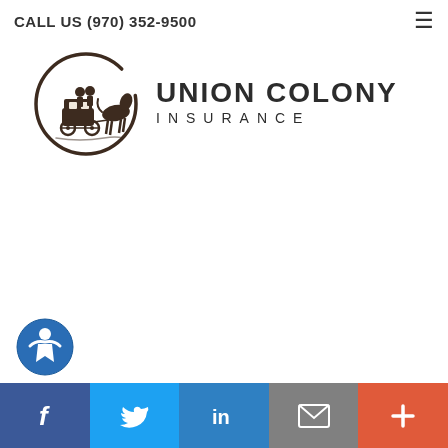CALL US (970) 352-9500
[Figure (logo): Union Colony Insurance logo with circular horse-drawn carriage icon and company name text]
[Figure (other): Accessibility/ADA icon — blue circular icon with person symbol]
Social media bar: Facebook, Twitter, LinkedIn, Email, More (+)